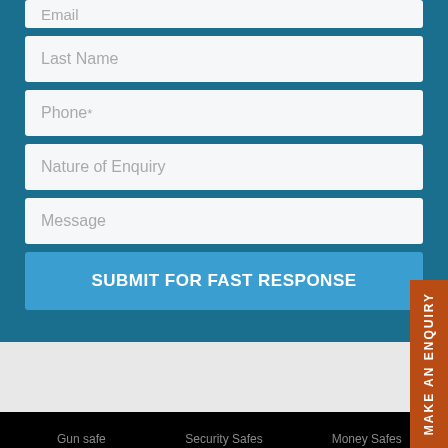Email
Last Name
Phone*
Nature of Enquiry
Message
SUBMIT FOR FAST RESPONSE
MAKE AN ENQUIRY
Gun safe   Security Safes   Money Safes